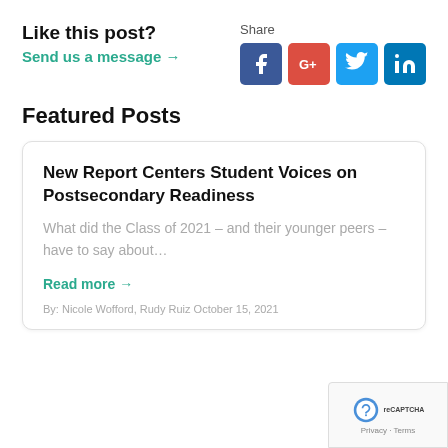Like this post?
Send us a message →
Share
[Figure (infographic): Social media share icons: Facebook (blue), Google+ (red), Twitter (light blue), LinkedIn (dark blue)]
Featured Posts
New Report Centers Student Voices on Postsecondary Readiness
What did the Class of 2021 – and their younger peers – have to say about…
Read more →
By: Nicole Wofford, Rudy Ruiz October 15, 2021